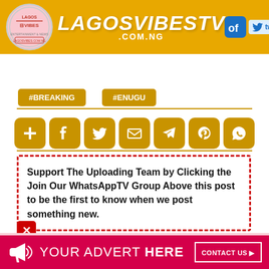[Figure (logo): LagosVibesTV logo with circular Lagos Vibes badge and golden brand name LAGOSVIBESTV .COM.NG, with Facebook, Twitter, and Instagram social icons in header]
#BREAKING
#ENUGU
[Figure (infographic): Row of 7 golden social share buttons: add/plus, Facebook, Twitter, email, Telegram, Pinterest, WhatsApp]
Support The Uploading Team by Clicking the Join Our WhatsAppTV Group Above this post to be the first to know when we post something new.
[Figure (infographic): Pink/red advertisement banner at bottom: megaphone icon, YOUR ADVERT HERE text, CONTACT US button]